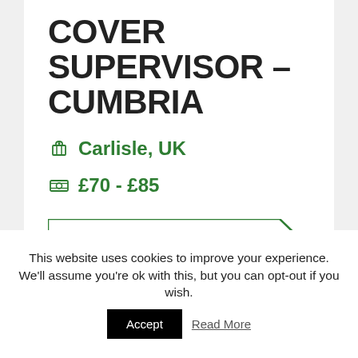COVER SUPERVISOR – CUMBRIA
Carlisle, UK
£70 - £85
APPLY FOR THIS JOB
This website uses cookies to improve your experience. We'll assume you're ok with this, but you can opt-out if you wish.
Accept
Read More